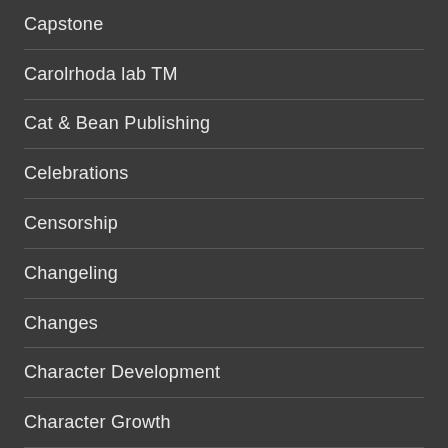Capstone
Carolrhoda lab TM
Cat & Bean Publishing
Celebrations
Censorship
Changeling
Changes
Character Development
Character Growth